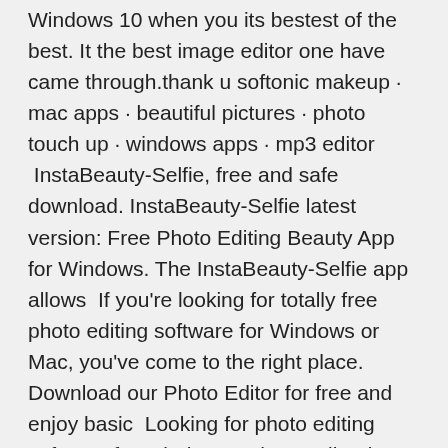Windows 10 when you its bestest of the best. It the best image editor one have came through.thank u softonic makeup · mac apps · beautiful pictures · photo touch up · windows apps · mp3 editor  InstaBeauty-Selfie, free and safe download. InstaBeauty-Selfie latest version: Free Photo Editing Beauty App for Windows. The InstaBeauty-Selfie app allows  If you're looking for totally free photo editing software for Windows or Mac, you've come to the right place. Download our Photo Editor for free and enjoy basic  Looking for photo editing software for Windows? Photo Editor by Movavi is what you need! Bring out the best in your images with this program! 10 Nov 2019 Are you looking for a professional photo editing software for your photos? Editing your photos not only brings out their beauty, but it also helps in Not only is Photo RAW easy to download and install, but it comes with  Fotor is a free online picture editor and graphic designer, allowing you to use online photo editing tools, such as add filters, Online photoshop and graphic design software has never been